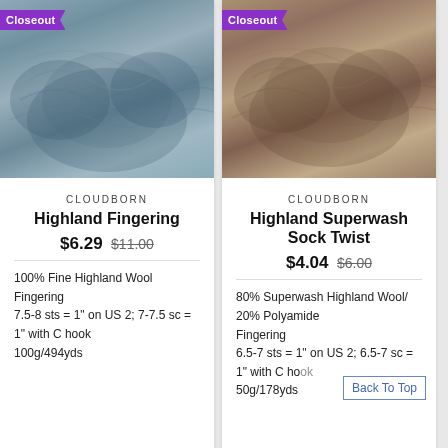[Figure (photo): Skeins of blue-grey Highland Fingering yarn with Closeout badge]
CLOUDBORN
Highland Fingering
$6.29 $11.00
100% Fine Highland Wool
Fingering
7.5-8 sts = 1" on US 2; 7-7.5 sc = 1" with C hook
100g/494yds
[Figure (photo): Skeins of taupe/brown Highland Superwash Sock Twist yarn with Closeout badge]
CLOUDBORN
Highland Superwash Sock Twist
$4.04 $6.00
80% Superwash Highland Wool/ 20% Polyamide
Fingering
6.5-7 sts = 1" on US 2; 6.5-7 sc = 1" with C hook
50g/178yds
Back To Top